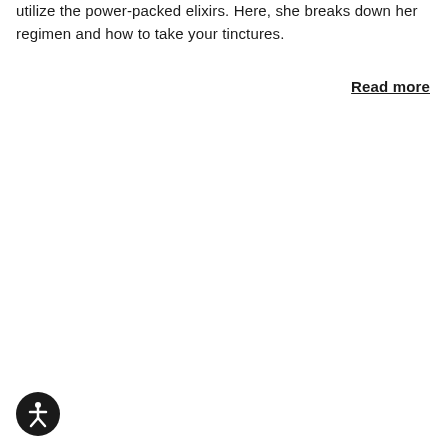utilize the power-packed elixirs. Here, she breaks down her regimen and how to take your tinctures.
Read more
[Figure (other): Accessibility icon button — circular dark button with a human figure symbol (wheelchair accessibility icon)]